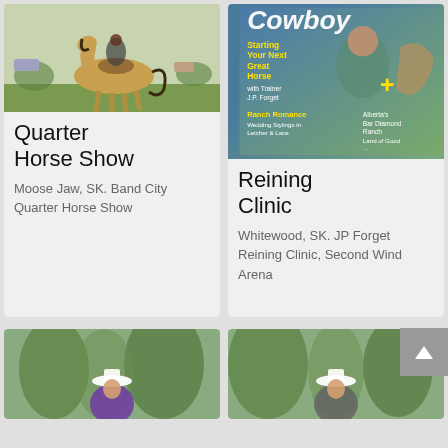[Figure (photo): A buckskin/dun quarter horse being ridden in a show setting on green grass]
Quarter Horse Show
Moose Jaw, SK. Band City Quarter Horse Show
[Figure (photo): Magazine cover of 'Cowboy' magazine featuring a man with a horse, with headline 'Starting Your Next Great Horse with Trainer JP Forget']
Reining Clinic
Whitewood, SK. JP Forget Reining Clinic, Second Wind Arena
[Figure (photo): Person wearing white hat and purple shirt outdoors with trees in background]
[Figure (photo): Person wearing white hat outdoors with trees in background]